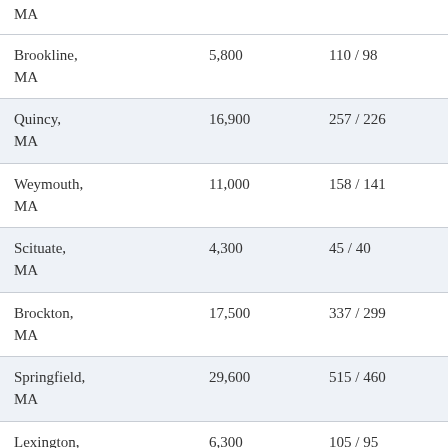| MA |  |  |
| Brookline, MA | 5,800 | 110 / 98 |
| Quincy, MA | 16,900 | 257 / 226 |
| Weymouth, MA | 11,000 | 158 / 141 |
| Scituate, MA | 4,300 | 45 / 40 |
| Brockton, MA | 17,500 | 337 / 299 |
| Springfield, MA | 29,600 | 515 / 460 |
| Lexington, | 6,300 | 105 / 95 |